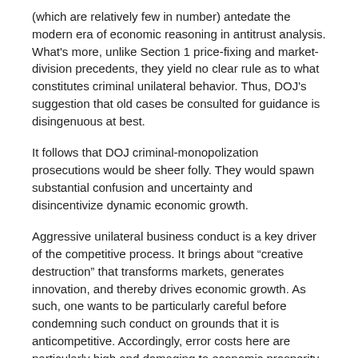(which are relatively few in number) antedate the modern era of economic reasoning in antitrust analysis. What's more, unlike Section 1 price-fixing and market-division precedents, they yield no clear rule as to what constitutes criminal unilateral behavior. Thus, DOJ's suggestion that old cases be consulted for guidance is disingenuous at best.
It follows that DOJ criminal-monopolization prosecutions would be sheer folly. They would spawn substantial confusion and uncertainty and disincentivize dynamic economic growth.
Aggressive unilateral business conduct is a key driver of the competitive process. It brings about “creative destruction” that transforms markets, generates innovation, and thereby drives economic growth. As such, one wants to be particularly careful before condemning such conduct on grounds that it is anticompetitive. Accordingly, error costs here are particularly high and damaging to economic prosperity.
Moreover, error costs in assessing unilateral conduct are more likely than in assessing joint conduct, because it is very hard to distinguish between procompetitive and anticompetitive single-firm conduct, as DOJ’s 2008 Report on Single Firm Conduct Under Section 2 explains (citations omitted):